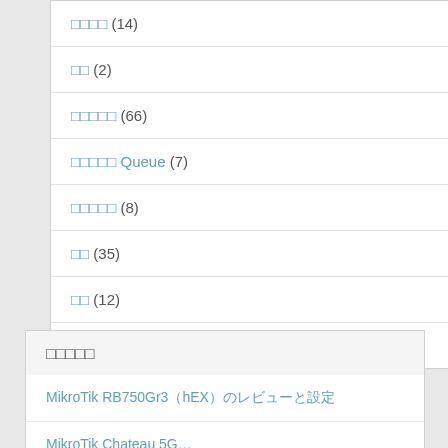□□□□ (14)
□□ (2)
□□□□□ (66)
□□□□□ Queue (7)
□□□□□ (8)
□□ (35)
□□ (12)
□□□□□ (13)
□□□□□
MikroTik RB750Gr3（hEX）のレビューと設定
MikroTik Chateau 5G…